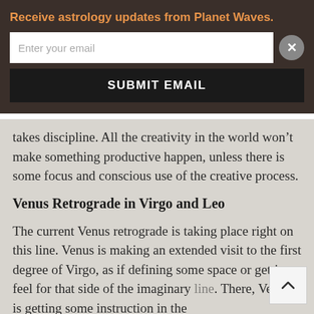Receive astrology updates from Planet Waves.
Enter your email
SUBMIT EMAIL
takes discipline. All the creativity in the world won’t make something productive happen, unless there is some focus and conscious use of the creative process.
Venus Retrograde in Virgo and Leo
The current Venus retrograde is taking place right on this line. Venus is making an extended visit to the first degree of Virgo, as if defining some space or getting a feel for that side of the imaginary line. There, Venus is getting some instruction in the need to focus energy if you’re going to get